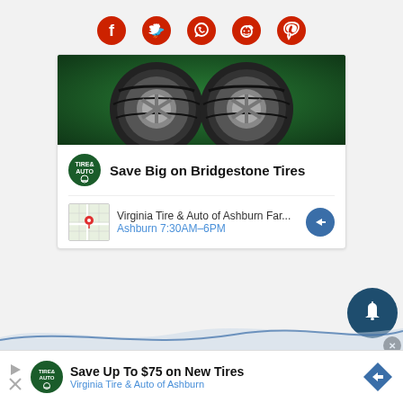[Figure (infographic): Social media share icons row: Facebook, Twitter, WhatsApp, Reddit, Pinterest — all in red]
[Figure (infographic): Ad card for Virginia Tire & Auto: image of two Bridgestone tires on green background, logo, title 'Save Big on Bridgestone Tires', map thumbnail with location 'Virginia Tire & Auto of Ashburn Far...' and hours 'Ashburn 7:30AM-6PM', navigation arrow button]
[Figure (infographic): Dark blue notification bell circle widget with X close button]
[Figure (infographic): Bottom ad banner: Save Up To $75 on New Tires, Virginia Tire & Auto of Ashburn, with logo and arrow icon]